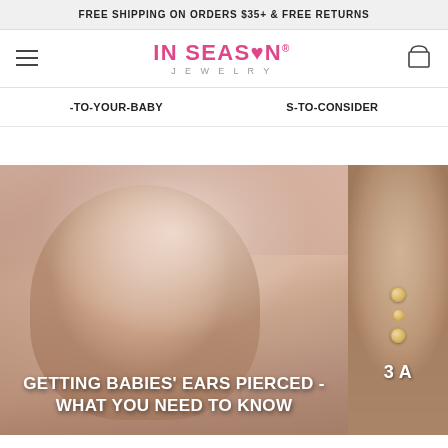FREE SHIPPING ON ORDERS $35+ & FREE RETURNS
[Figure (logo): In Season Jewelry logo with pink text and heart icon]
-TO-YOUR-BABY
S-TO-CONSIDER
[Figure (photo): Close-up of a baby with a hooded towel, looking at camera]
GETTING BABIES' EARS PIERCED - WHAT YOU NEED TO KNOW
[Figure (photo): Woman wearing bracelet/jewelry, partially visible on right side]
3 A